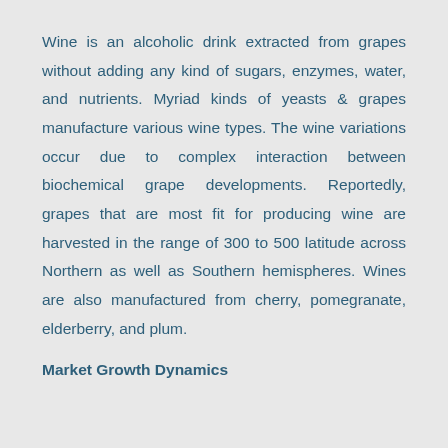Wine is an alcoholic drink extracted from grapes without adding any kind of sugars, enzymes, water, and nutrients. Myriad kinds of yeasts & grapes manufacture various wine types. The wine variations occur due to complex interaction between biochemical grape developments. Reportedly, grapes that are most fit for producing wine are harvested in the range of 300 to 500 latitude across Northern as well as Southern hemispheres. Wines are also manufactured from cherry, pomegranate, elderberry, and plum.
Market Growth Dynamics